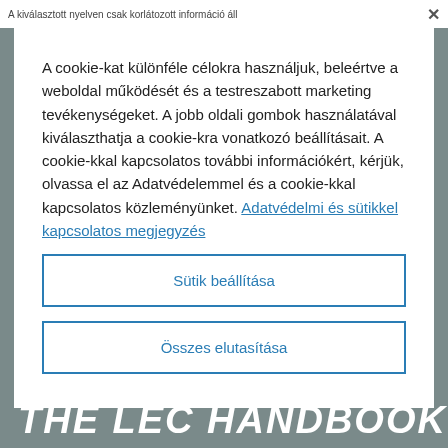A kiválasztott nyelven csak korlátozott információ áll
A cookie-kat különféle célokra használjuk, beleértve a weboldal működését és a testreszabott marketing tevékenységeket. A jobb oldali gombok használatával kiválaszthatja a cookie-kra vonatkozó beállításait. A cookie-kkal kapcsolatos további információkért, kérjük, olvassa el az Adatvédelemmel és a cookie-kkal kapcsolatos közleményünket. Adatvédelmi és sütikkel kapcsolatos megjegyzés
Sütik beállítása
Összes elutasítása
The LEC Handbook